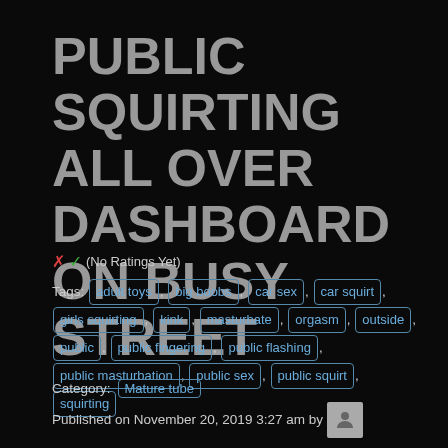PUBLIC SQUIRTING ALL OVER DASHBOARD ON BUSY STREET
✗✓ (No Ratings Yet)
Tags: adult toys, big boobs, car sex, car squirt, girls squirting, kink, masturbate, orgasm, outside, public, public fingering, public flashing, public masturbation, public sex, public squirt, squirting
Category: Mature tube
Published on November 20, 2019 3:27 am by Mature tube